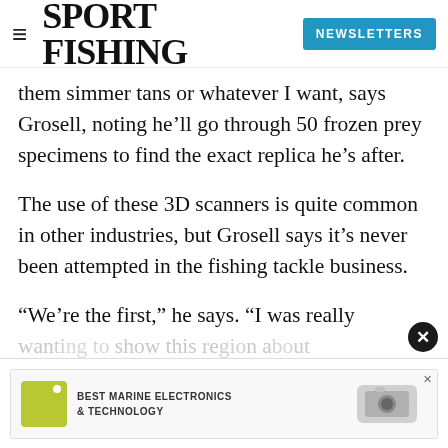SPORT FISHING — NEWSLETTERS
them simmer tans or whatever I want, says Grosell, noting he'll go through 50 frozen prey specimens to find the exact replica he's after.
The use of these 3D scanners is quite common in other industries, but Grosell says it's never been attempted in the fishing tackle business.
“We’re the first,” he says. “I was really wanting to show this region about us o...ot of